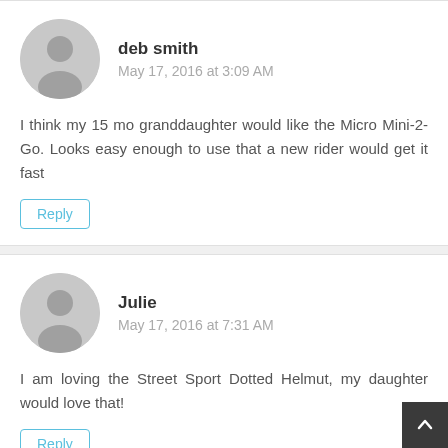deb smith
May 17, 2016 at 3:09 AM
I think my 15 mo granddaughter would like the Micro Mini-2-Go. Looks easy enough to use that a new rider would get it fast
Reply
Julie
May 17, 2016 at 7:31 AM
I am loving the Street Sport Dotted Helmut, my daughter would love that!
Reply